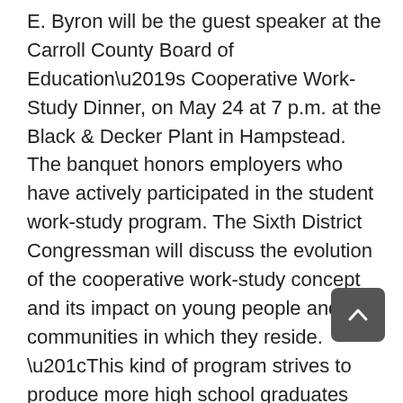E. Byron will be the guest speaker at the Carroll County Board of Education's Cooperative Work-Study Dinner, on May 24 at 7 p.m. at the Black & Decker Plant in Hampstead. The banquet honors employers who have actively participated in the student work-study program. The Sixth District Congressman will discuss the evolution of the cooperative work-study concept and its impact on young people and the communities in which they reside. “This kind of program strives to produce more high school graduates who will become productive working members of our society,” said Byron. “and I think it benefits not only the students, but the local economy and businesses as well.” Community Reporter, May 20, 1971.